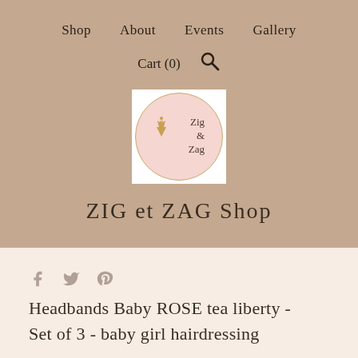Shop   About   Events   Gallery   Cart (0)  🔍
[Figure (logo): Zig & Zag shop logo — circular badge with pink background, gold deer silhouette, and text 'Zig & Zag']
ZIG et ZAG Shop
[Figure (infographic): Social media share icons: Facebook, Twitter, Pinterest]
Headbands Baby ROSE tea liberty - Set of 3 - baby girl hairdressing